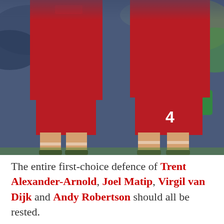[Figure (photo): Two Liverpool FC players in red jerseys and shorts photographed from the waist down on a football pitch, one wearing number 4, with a blurred crowd in the background.]
The entire first-choice defence of Trent Alexander-Arnold, Joel Matip, Virgil van Dijk and Andy Robertson should all be rested.